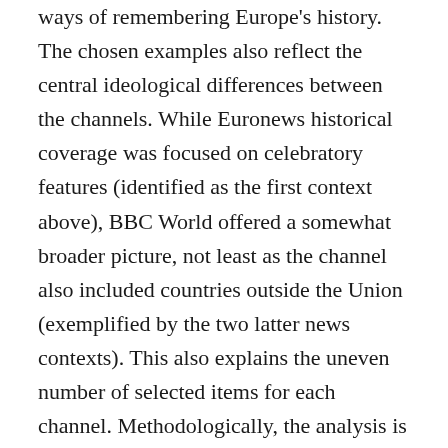ways of remembering Europe's history. The chosen examples also reflect the central ideological differences between the channels. While Euronews historical coverage was focused on celebratory features (identified as the first context above), BBC World offered a somewhat broader picture, not least as the channel also included countries outside the Union (exemplified by the two latter news contexts). This also explains the uneven number of selected items for each channel. Methodologically, the analysis is based on critical discourse analysis (CDA) with a particular focus on communicative events, historical narratives and the way their interrelationships impinge on how European identity is articulated discursively in the news through temporal and spatial constructions